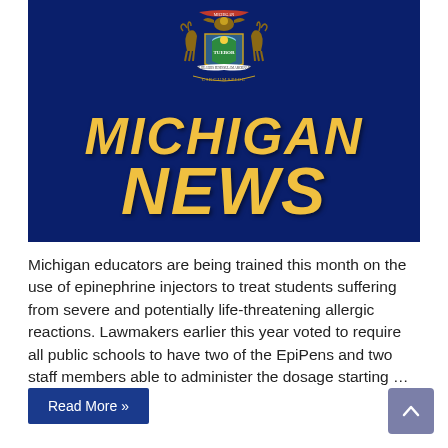[Figure (illustration): Michigan News banner image with dark navy blue background, Michigan state seal/coat of arms at top center (showing eagle, elk, moose, shield with 'TUEBOR' and 'SI QUAERIS PENINSULAM AMOENAM CIRCUMSPICE'), and large bold italic yellow/gold text reading 'MICHIGAN NEWS']
Michigan educators are being trained this month on the use of epinephrine injectors to treat students suffering from severe and potentially life-threatening allergic reactions. Lawmakers earlier this year voted to require all public schools to have two of the EpiPens and two staff members able to administer the dosage starting …
Read More »